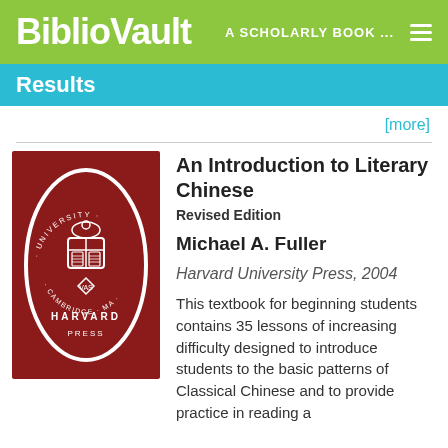BiblioVault  A SCHOLARLY BOOK ...
Results
[more]
[Figure (logo): Harvard University Press seal/logo — red oval with white text and crest]
An Introduction to Literary Chinese
Revised Edition
Michael A. Fuller
Harvard University Press, 2004
This textbook for beginning students contains 35 lessons of increasing difficulty designed to introduce students to the basic patterns of Classical Chinese and to provide practice in reading a